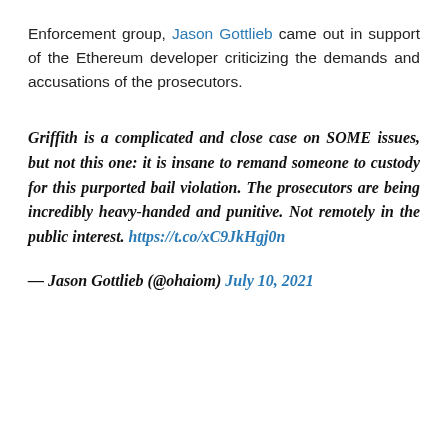Enforcement group, Jason Gottlieb came out in support of the Ethereum developer criticizing the demands and accusations of the prosecutors.
Griffith is a complicated and close case on SOME issues, but not this one: it is insane to remand someone to custody for this purported bail violation. The prosecutors are being incredibly heavy-handed and punitive. Not remotely in the public interest. https://t.co/xC9JkHgj0n
— Jason Gottlieb (@ohaiom) July 10, 2021